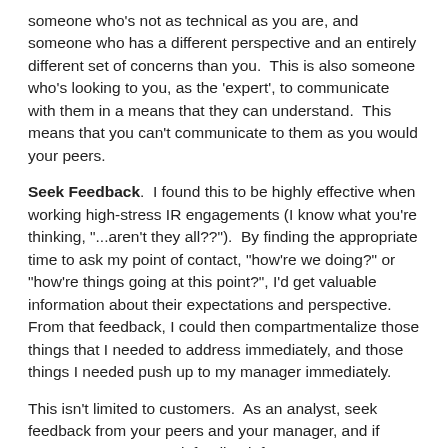someone who's not as technical as you are, and someone who has a different perspective and an entirely different set of concerns than you.  This is also someone who's looking to you, as the 'expert', to communicate with them in a means that they can understand.  This means that you can't communicate to them as you would your peers.
Seek Feedback.  I found this to be highly effective when working high-stress IR engagements (I know what you're thinking, "...aren't they all?").  By finding the appropriate time to ask my point of contact, "how're we doing?" or "how're things going at this point?", I'd get valuable information about their expectations and perspective.  From that feedback, I could then compartmentalize those things that I needed to address immediately, and those things I needed push up to my manager immediately.
This isn't limited to customers.  As an analyst, seek feedback from your peers and your manager, and if you're a manager, seek feedback from your subordinates.  Create a culture where it's easy to do this, without fear that it will be "used against" someone, but will instead be used to make